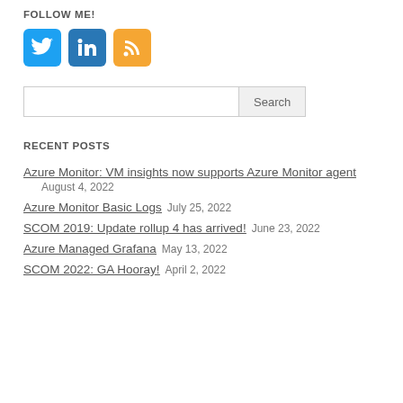FOLLOW ME!
[Figure (illustration): Three social media icons: Twitter (blue bird), LinkedIn (blue in box), RSS (orange feed icon)]
Search
RECENT POSTS
Azure Monitor: VM insights now supports Azure Monitor agent   August 4, 2022
Azure Monitor Basic Logs   July 25, 2022
SCOM 2019: Update rollup 4 has arrived!   June 23, 2022
Azure Managed Grafana   May 13, 2022
SCOM 2022: GA Hooray!   April 2, 2022